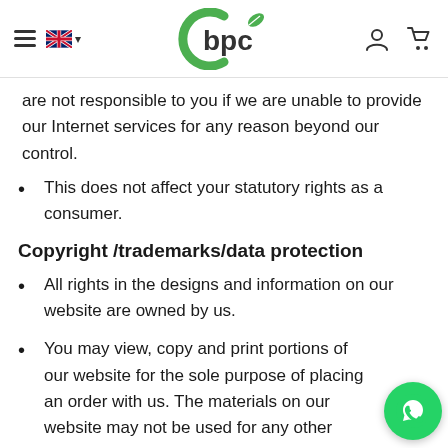bpc [logo with leaf]
are not responsible to you if we are unable to provide our Internet services for any reason beyond our control.
This does not affect your statutory rights as a consumer.
Copyright /trademarks/data protection
All rights in the designs and information on our website are owned by us.
You may view, copy and print portions of our website for the sole purpose of placing an order with us. The materials on our website may not be used for any other purpose.